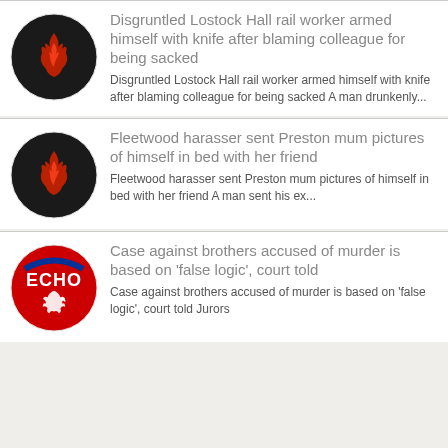Disgruntled Lostock Hall rail worker armed himself with knife after blaming colleague for being sacked
Disgruntled Lostock Hall rail worker armed himself with knife after blaming colleague for being sacked A man drunkenly...
Fleetwood harasser sent Preston mum pictures of himself in bed with her friend
Fleetwood harasser sent Preston mum pictures of himself in bed with her friend A man sent his ex...
Case against brothers accused of murder is based on ‘false logic’, court told
Case against brothers accused of murder is based on ‘false logic’, court told Jurors